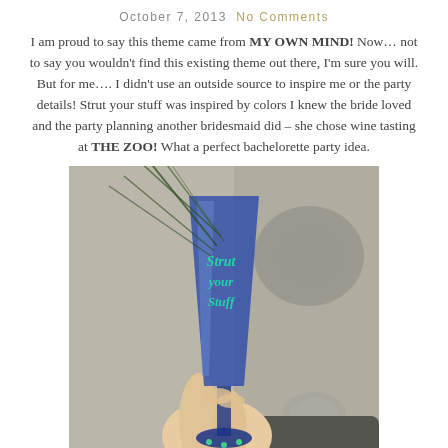October 7, 2013   No Comments
I am proud to say this theme came from MY OWN MIND!  Now… not to say you wouldn't find this existing theme out there,  I'm sure you will.  But for me….  I didn't use an outside source to inspire me or the party details!   Strut your stuff was inspired by colors I knew the bride loved and the party planning another bridesmaid did – she chose wine tasting at THE ZOO!  What a perfect bachelorette party idea.
[Figure (photo): A hand holding a tall blue champagne flute with teal cursive text reading 'Strut your Stuff', with peacock feathers inserted in the glass, photographed inside a car with a Toyota logo visible in the background.]